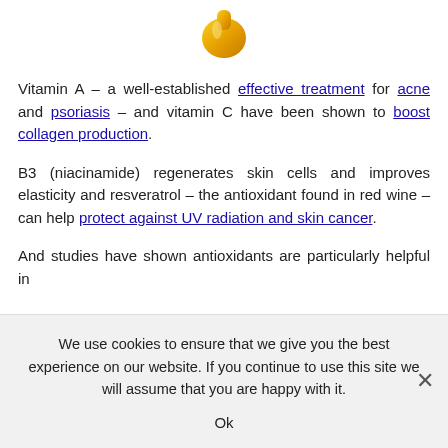[Figure (photo): Partial image of a golden oil drop or liquid dropper at the top of the page]
Vitamin A – a well-established effective treatment for acne and psoriasis – and vitamin C have been shown to boost collagen production.
B3 (niacinamide) regenerates skin cells and improves elasticity and resveratrol – the antioxidant found in red wine – can help protect against UV radiation and skin cancer.
And studies have shown antioxidants are particularly helpful in
We use cookies to ensure that we give you the best experience on our website. If you continue to use this site we will assume that you are happy with it. Ok